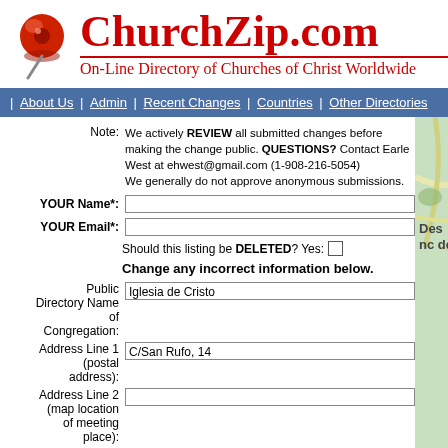[Figure (logo): ChurchZip.com logo with red pushpin icon and site title]
ChurchZip.com
On-Line Directory of Churches of Christ Worldwide
| About Us | Admin | Recent Changes | Countries | Other Directories
Note: We actively REVIEW all submitted changes before making the change public. QUESTIONS? Contact Earle West at ehwest@gmail.com (1-908-216-5054)
We generally do not approve anonymous submissions.
YOUR Name*:
YOUR Email*:
Should this listing be DELETED? Yes:
Change any incorrect information below.
Public Directory Name of Congregation: Iglesia de Cristo
Address Line 1 (postal address): C/San Rufo, 14
Address Line 2 (map location of meeting place):